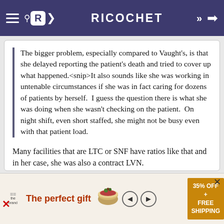RICOCHET
The bigger problem, especially compared to Vaught's, is that she delayed reporting the patient's death and tried to cover up what happened.<snip>It also sounds like she was working in untenable circumstances if she was in fact caring for dozens of patients by herself.  I guess the question there is what she was doing when she wasn't checking on the patient.  On night shift, even short staffed, she might not be busy even with that patient load.
Many facilities that are LTC or SNF have ratios like that and in her case, she was also a contract LVN.
#17
[Figure (screenshot): Advertisement bar at bottom: The perfect gift, 35% OFF + FREE SHIPPING]